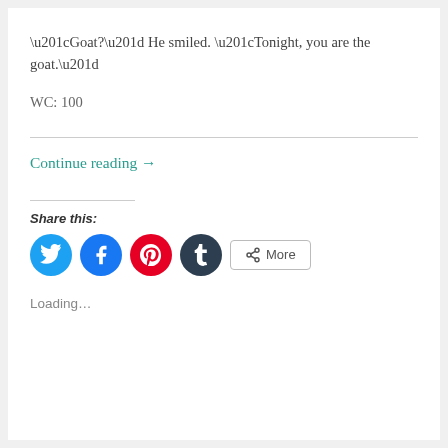“Goat?”  He smiled.  “Tonight, you are the goat.”
WC:  100
Continue reading →
Share this:
[Figure (other): Social share buttons: Twitter, Facebook, Pinterest, Tumblr circles and a More button]
Loading…